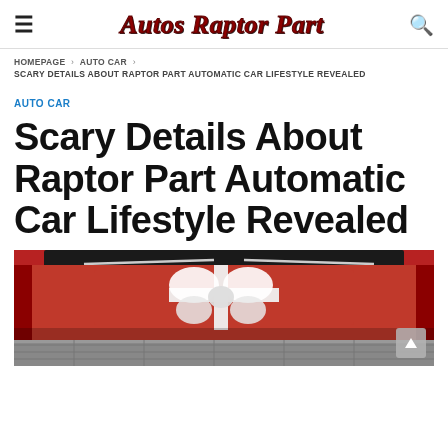Autos Raptor Part
HOMEPAGE › AUTO CAR › SCARY DETAILS ABOUT RAPTOR PART AUTOMATIC CAR LIFESTYLE REVEALED
AUTO CAR
Scary Details About Raptor Part Automatic Car Lifestyle Revealed
[Figure (photo): Red car trunk with a white ribbon bow gift decoration, viewed from behind, on a paved surface]